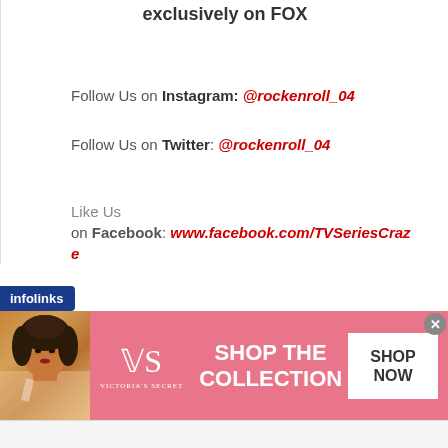exclusively on FOX
Follow Us on Instagram: @rockenroll_04
Follow Us on Twitter: @rockenroll_04
Like Us
on Facebook: www.facebook.com/TVSeriesCraze
[Figure (screenshot): Victoria's Secret advertisement banner with model photo, VS logo, 'SHOP THE COLLECTION' text, and 'SHOP NOW' button on pink background]
infolinks